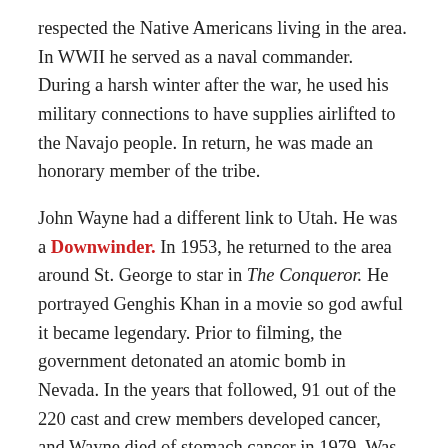respected the Native Americans living in the area. In WWII he served as a naval commander. During a harsh winter after the war, he used his military connections to have supplies airlifted to the Navajo people. In return, he was made an honorary member of the tribe.
John Wayne had a different link to Utah. He was a Downwinder. In 1953, he returned to the area around St. George to star in The Conqueror. He portrayed Genghis Khan in a movie so god awful it became legendary. Prior to filming, the government detonated an atomic bomb in Nevada. In the years that followed, 91 out of the 220 cast and crew members developed cancer, and Wayne died of stomach cancer in 1979. Was it caused by his multi-pack a day cigarette habit, or atomic radiation? In either case, the area around Monument Valley will always be remembered as John Wayne country.